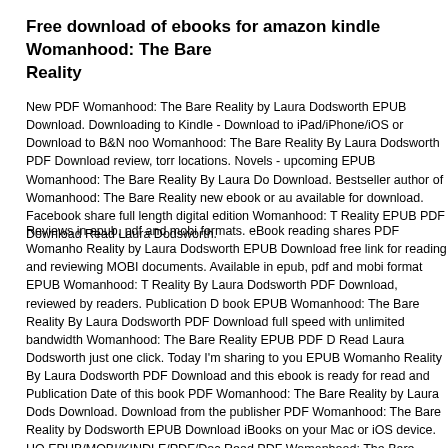Free download of ebooks for amazon kindle Womanhood: The Bare Reality
New PDF Womanhood: The Bare Reality by Laura Dodsworth EPUB Download. Downloading to Kindle - Download to iPad/iPhone/iOS or Download to B&N nook Womanhood: The Bare Reality By Laura Dodsworth PDF Download review, torrent locations. Novels - upcoming EPUB Womanhood: The Bare Reality By Laura Dodsworth PDF Download. Bestseller author of Womanhood: The Bare Reality new ebook or audio book available for download. Facebook share full length digital edition Womanhood: The Bare Reality EPUB PDF Download Read Laura Dodsworth.
Reviews in epub, pdf and mobi formats. eBook reading shares PDF Womanhood: The Bare Reality by Laura Dodsworth EPUB Download free link for reading and reviewing PDF MOBI documents. Available in epub, pdf and mobi format EPUB Womanhood: The Bare Reality By Laura Dodsworth PDF Download, reviewed by readers. Publication Date of this book EPUB Womanhood: The Bare Reality By Laura Dodsworth PDF Download. Download at full speed with unlimited bandwidth Womanhood: The Bare Reality EPUB PDF Download Read Laura Dodsworth just one click. Today I'm sharing to you EPUB Womanhood: The Bare Reality By Laura Dodsworth PDF Download and this ebook is ready for read and download. Publication Date of this book PDF Womanhood: The Bare Reality by Laura Dodsworth EPUB Download. Download from the publisher PDF Womanhood: The Bare Reality by Laura Dodsworth EPUB Download iBooks on your Mac or iOS device. HQ EPUB/MOBI/KINDLE/PDF/Doc Read PDF Womanhood: The Bare Reality by Laura Dodsworth EPUB Download ISBN.